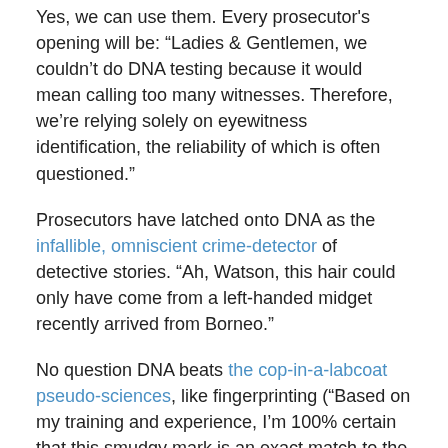Yes, we can use them. Every prosecutor's opening will be: “Ladies & Gentlemen, we couldn’t do DNA testing because it would mean calling too many witnesses. Therefore, we’re relying solely on eyewitness identification, the reliability of which is often questioned.”
Prosecutors have latched onto DNA as the infallible, omniscient crime-detector of detective stories. “Ah, Watson, this hair could only have come from a left-handed midget recently arrived from Borneo.”
No question DNA beats the cop-in-a-labcoat pseudo-sciences, like fingerprinting (“Based on my training and experience, I’m 100% certain that this smudgy mark is an exact match to the defendant”), or toolmark comparison (“Based on my lifetime of peering at bullets through a microscope, I can tell that this fragment lodged in the wall could only have come from the defendant’s gun”).